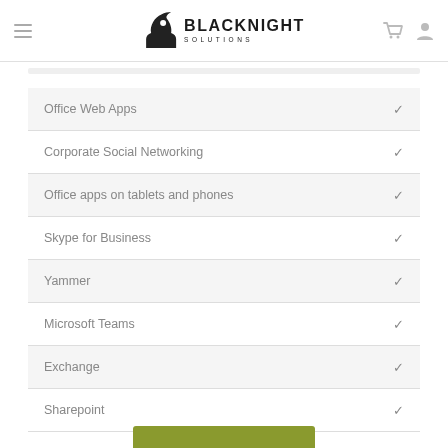Blacknight Solutions
Office Web Apps ✓
Corporate Social Networking ✓
Office apps on tablets and phones ✓
Skype for Business ✓
Yammer ✓
Microsoft Teams ✓
Exchange ✓
Sharepoint ✓